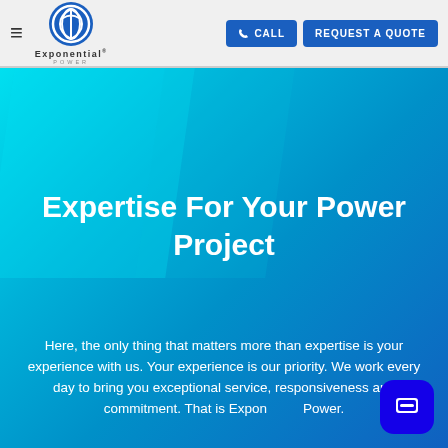Exponential Power — CALL | REQUEST A QUOTE
Expertise For Your Power Project
Here, the only thing that matters more than expertise is your experience with us. Your experience is our priority. We work every day to bring you exceptional service, responsiveness and commitment. That is Exponential Power.
[Figure (logo): Exponential Power logo with circular icon and company name]